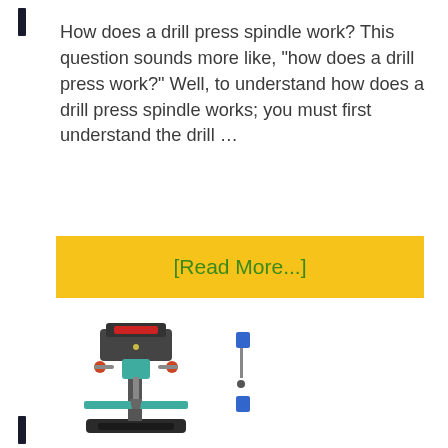How does a drill press spindle work? This question sounds more like, "how does a drill press work?" Well, to understand how does a drill press spindle works; you must first understand the drill …
[Read More...]
[Figure (photo): Photo of a drill press machine on the left, and a partial view of another item on the right]